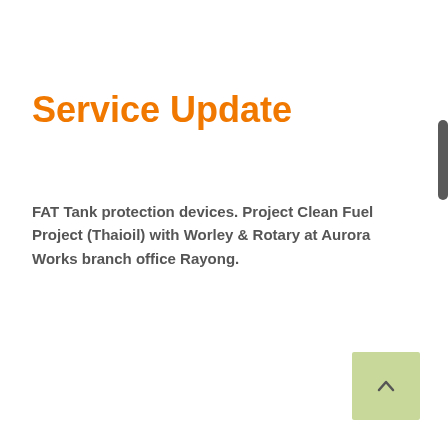Service Update
FAT Tank protection devices. Project Clean Fuel Project (Thaioil) with Worley & Rotary at Aurora Works branch office Rayong.